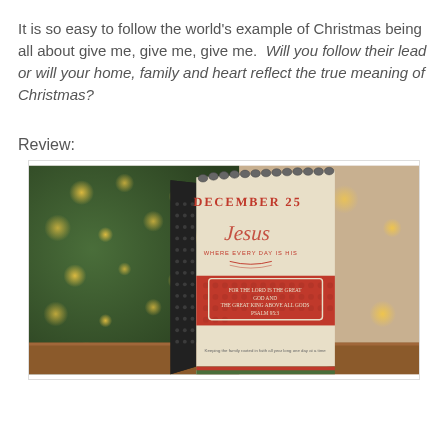It is so easy to follow the world's example of Christmas being all about give me, give me, give me.  Will you follow their lead or will your home, family and heart reflect the true meaning of Christmas?
Review:
[Figure (photo): A spiral-bound desk calendar propped open on a wooden surface, showing a page dated 'December 25' with the word 'Jesus' in script and a Bible verse, decorated with red and green patterned paper. A Christmas tree with bokeh lights is visible in the background.]